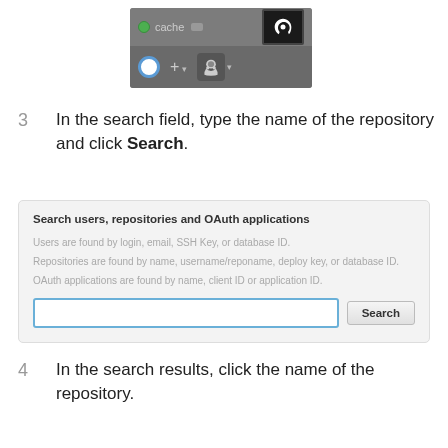[Figure (screenshot): Screenshot of a GitHub interface showing a dark toolbar with a cache tab (green dot), a rocket icon button highlighted in black, and a bottom bar with a blue circle icon, a plus (+) button, and a GitHub Octocat icon with dropdown arrows.]
In the search field, type the name of the repository and click Search.
[Figure (screenshot): A search interface panel labeled 'Search users, repositories and OAuth applications' with helper text describing search by login/email/SSH Key/database ID, username/reponame/deploy key, and name/client ID/application ID. A text input field with a blue border and a Search button are shown.]
In the search results, click the name of the repository.